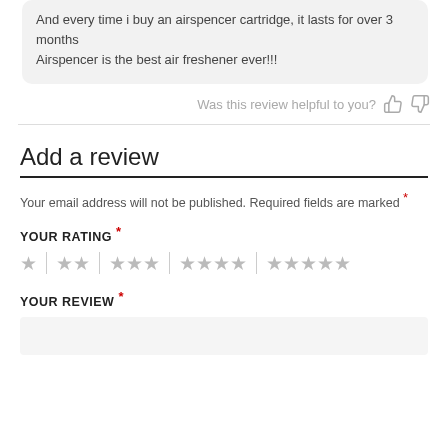And every time i buy an airspencer cartridge, it lasts for over 3 months
Airspencer is the best air freshener ever!!!
Was this review helpful to you?
Add a review
Your email address will not be published. Required fields are marked *
YOUR RATING *
YOUR REVIEW *